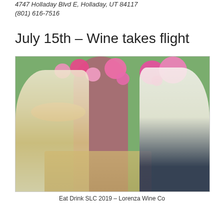4747 Holladay Blvd E, Holladay, UT 84117
(801) 616-7516
July 15th – Wine takes flight
[Figure (photo): Outdoor event photo showing women at a wine tasting booth with pink tissue paper pom-poms hanging overhead and a pink arch in the background. The setting appears to be the Eat Drink SLC 2019 event featuring Lorenza Wine Co.]
Eat Drink SLC 2019 – Lorenza Wine Co